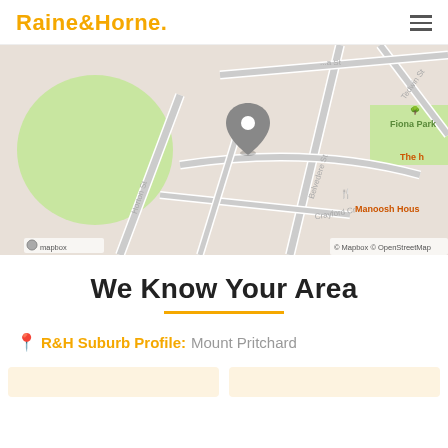Raine&Horne.
[Figure (map): Street map showing location pin near Fiona Park and Crayford Cr, with Green Valley Creek, Horton St, Belvedere St, Tedwin St visible. Manoosh House restaurant marked. Mapbox / OpenStreetMap attribution.]
We Know Your Area
R&H Suburb Profile: Mount Pritchard